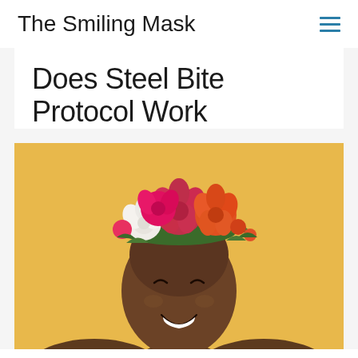The Smiling Mask
Does Steel Bite Protocol Work
[Figure (photo): A smiling young Black woman wearing a floral crown made of pink, red, orange, and white flowers with green leaves, photographed against a warm yellow/golden background. She is bare-shouldered and looking up with a joyful expression and bright white teeth.]